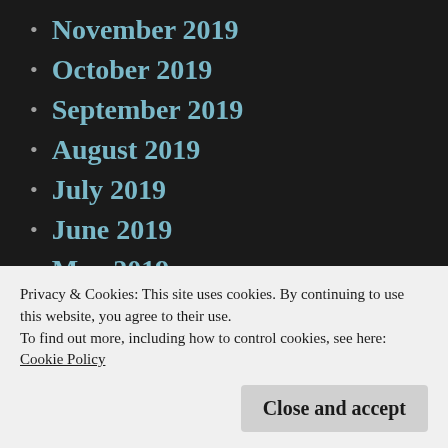November 2019
October 2019
September 2019
August 2019
July 2019
June 2019
May 2019
April 2019
March 2019
February 2019
January 2019
Privacy & Cookies: This site uses cookies. By continuing to use this website, you agree to their use.
To find out more, including how to control cookies, see here:
Cookie Policy
August 2018